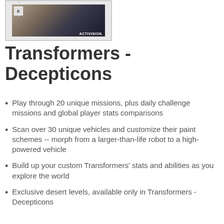[Figure (photo): Transformers - Decepticons game cover art with ESRB rating and Activision logo]
Transformers - Decepticons
Play through 20 unique missions, plus daily challenge missions and global player stats comparisons
Scan over 30 unique vehicles and customize their paint schemes -- morph from a larger-than-life robot to a high-powered vehicle
Build up your custom Transformers' stats and abilities as you explore the world
Exclusive desert levels, available only in Transformers - Decepticons